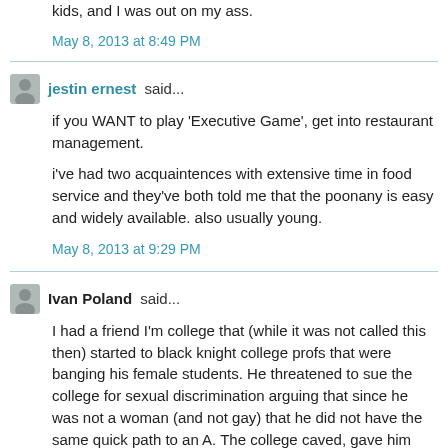kids, and I was out on my ass.
May 8, 2013 at 8:49 PM
jestin ernest said...
if you WANT to play 'Executive Game', get into restaurant management.
i've had two acquaintences with extensive time in food service and they've both told me that the poonany is easy and widely available. also usually young.
May 8, 2013 at 9:29 PM
Ivan Poland said...
I had a friend I'm college that (while it was not called this then) started to black knight college profs that were banging his female students. He threatened to sue the college for sexual discrimination arguing that since he was not a woman (and not gay) that he did not have the same quick path to an A. The college caved, gave him his tuition